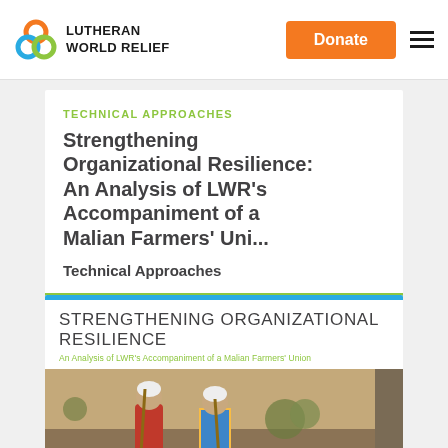LUTHERAN WORLD RELIEF
TECHNICAL APPROACHES
Strengthening Organizational Resilience: An Analysis of LWR’s Accompaniment of a Malian Farmers’ Uni...
Technical Approaches
[Figure (screenshot): Cover image of a report titled STRENGTHENING ORGANIZATIONAL RESILIENCE: An Analysis of LWR’s Accompaniment of a Malian Farmers’ Union, with two women working outdoors in a dry landscape]
STRENGTHENING ORGANIZATIONAL RESILIENCE
An Analysis of LWR’s Accompaniment of a Malian Farmers’ Union